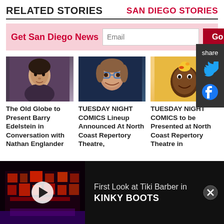RELATED STORIES
SAN DIEGO STORIES
Get San Diego News   Email   Go
[Figure (photo): Portrait photo of Barry Edelstein]
The Old Globe to Present Barry Edelstein in Conversation with Nathan Englander
[Figure (photo): Portrait photo of man with glasses smiling]
TUESDAY NIGHT COMICS Lineup Announced At North Coast Repertory Theatre,
[Figure (photo): Portrait photo of man with duck on head]
TUESDAY NIGHT COMICS to be Presented at North Coast Repertory Theatre in
[Figure (screenshot): Video thumbnail of stage show with red lighting - First Look at Tiki Barber in KINKY BOOTS]